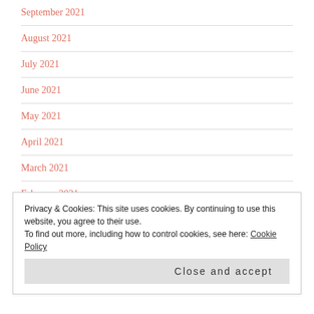September 2021
August 2021
July 2021
June 2021
May 2021
April 2021
March 2021
February 2021
Privacy & Cookies: This site uses cookies. By continuing to use this website, you agree to their use.
To find out more, including how to control cookies, see here: Cookie Policy
Close and accept